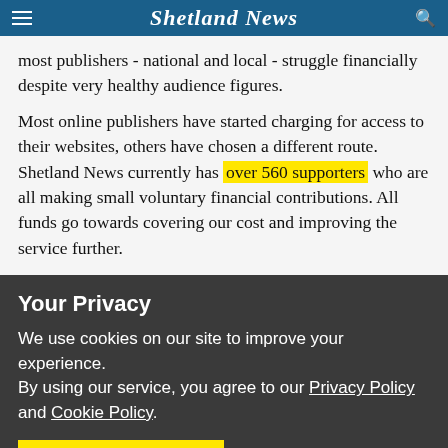Shetland News
most publishers - national and local - struggle financially despite very healthy audience figures.
Most online publishers have started charging for access to their websites, others have chosen a different route. Shetland News currently has over 560 supporters who are all making small voluntary financial contributions. All funds go towards covering our cost and improving the service further.
Your Privacy
We use cookies on our site to improve your experience.
By using our service, you agree to our Privacy Policy and Cookie Policy.
I'm OK with that